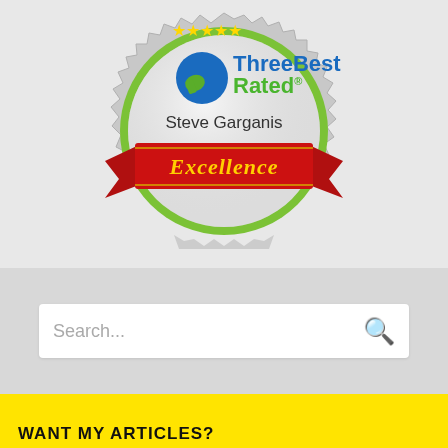[Figure (logo): ThreeBest Rated Excellence award badge/medal for Steve Garganis. Silver serrated medal with green border, blue and green ThreeBest Rated logo with thumbs up icon, five gold stars, name Steve Garganis, and red ribbon banner with gold text 'Excellence'.]
Search...
WANT MY ARTICLES?